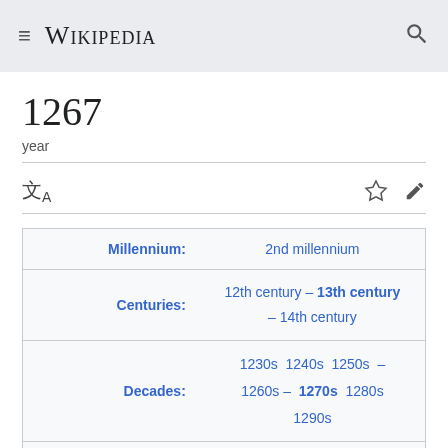Wikipedia
1267
year
| Label | Value |
| --- | --- |
| Millennium: | 2nd millennium |
| Centuries: | 12th century – 13th century – 14th century |
| Decades: | 1230s  1240s  1250s  – 1260s –  1270s  1280s  1290s |
| Years: | 1264  1265  1266 – 1267 – 1268  1269  1270 |